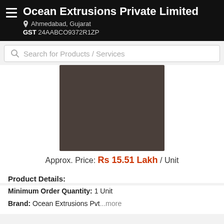Ocean Extrusions Private Limited | Ahmedabad, Gujarat | GST 24AABCO9372R1ZP
Search for Products / Services
[Figure (photo): Product image placeholder — dark brownish-grey rectangle]
Approx. Price: Rs 15.51 Lakh / Unit
Product Details:
Minimum Order Quantity: 1 Unit
Brand: Ocean Extrusions Pvt...more